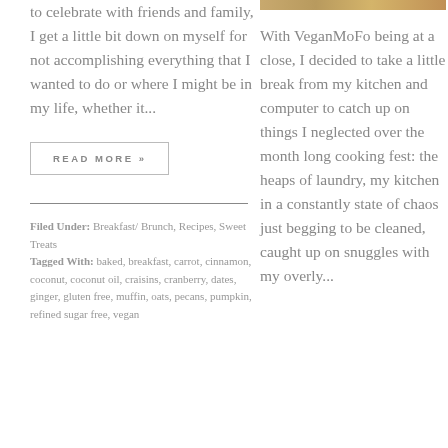to celebrate with friends and family, I get a little bit down on myself for not accomplishing everything that I wanted to do or where I might be in my life, whether it...
READ MORE »
Filed Under: Breakfast/ Brunch, Recipes, Sweet Treats
Tagged With: baked, breakfast, carrot, cinnamon, coconut, coconut oil, craisins, cranberry, dates, ginger, gluten free, muffin, oats, pecans, pumpkin, refined sugar free, vegan
[Figure (photo): Small decorative food photo strip at top right]
With VeganMoFo being at a close, I decided to take a little break from my kitchen and computer to catch up on things I neglected over the month long cooking fest: the heaps of laundry, my kitchen in a constantly state of chaos just begging to be cleaned, caught up on snuggles with my overly...